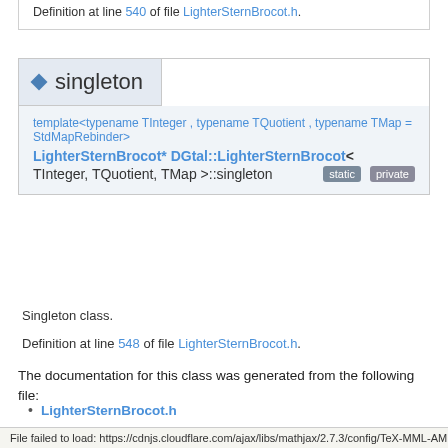Definition at line 540 of file LighterSternBrocot.h.
singleton
template<typename TInteger , typename TQuotient , typename TMap = StdMapRebinder>
LighterSternBrocot* DGtal::LighterSternBrocot< TInteger, TQuotient, TMap >::singleton
Singleton class.
Definition at line 548 of file LighterSternBrocot.h.
The documentation for this class was generated from the following file:
LighterSternBrocot.h
File failed to load: https://cdnjs.cloudflare.com/ajax/libs/mathjax/2.7.3/config/TeX-MML-AM